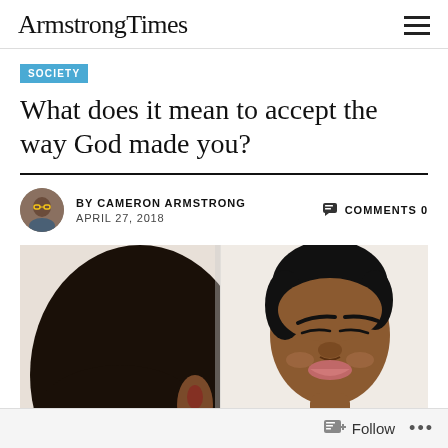ArmstrongTimes
SOCIETY
What does it mean to accept the way God made you?
BY CAMERON ARMSTRONG   COMMENTS 0
APRIL 27, 2018
[Figure (photo): A woman looking at her reflection in a mirror, smiling. The reflection shows her face clearly while the back of her head is visible from the camera's perspective.]
Follow ...